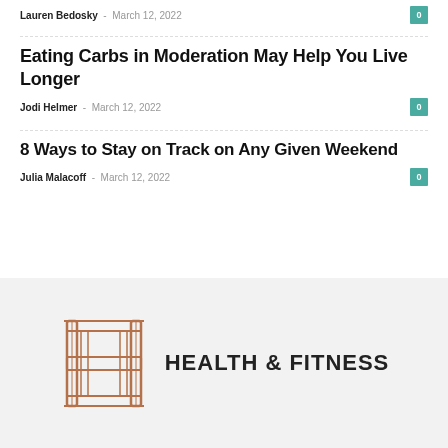Lauren Bedosky · March 12, 2022
Eating Carbs in Moderation May Help You Live Longer
Jodi Helmer · March 12, 2022
8 Ways to Stay on Track on Any Given Weekend
Julia Malacoff · March 12, 2022
[Figure (logo): Health & Fitness logo with stylized H icon in brown/copper color and bold text HEALTH & FITNESS]